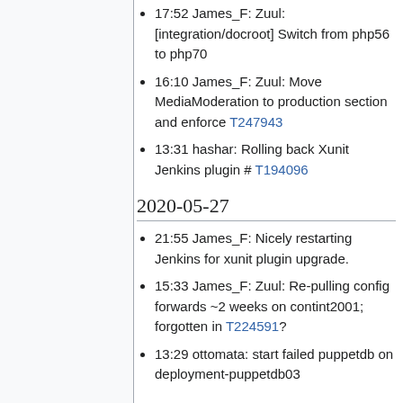17:52 James_F: Zuul: [integration/docroot] Switch from php56 to php70
16:10 James_F: Zuul: Move MediaModeration to production section and enforce T247943
13:31 hashar: Rolling back Xunit Jenkins plugin # T194096
2020-05-27
21:55 James_F: Nicely restarting Jenkins for xunit plugin upgrade.
15:33 James_F: Zuul: Re-pulling config forwards ~2 weeks on contint2001; forgotten in T224591?
13:29 ottomata: start failed puppetdb on deployment-puppetdb03
2020-05-26